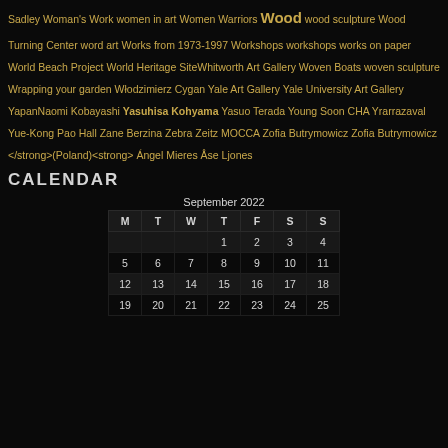Sadley Woman's Work women in art Women Warriors Wood wood sculpture Wood Turning Center word art Works from 1973-1997 Workshops workshops works on paper World Beach Project World Heritage SiteWhitworth Art Gallery Woven Boats woven sculpture Wrapping your garden Włodzimierz Cygan Yale Art Gallery Yale University Art Gallery YapanNaomi Kobayashi Yasuhisa Kohyama Yasuo Terada Young Soon CHA Yrarrazaval Yue-Kong Pao Hall Zane Berzina Zebra Zeitz MOCCA Zofia Butrymowicz Zofia Butrymowicz </strong>(Poland)<strong> Ángel Mieres Åse Ljones
CALENDAR
| M | T | W | T | F | S | S |
| --- | --- | --- | --- | --- | --- | --- |
|  |  |  | 1 | 2 | 3 | 4 |
| 5 | 6 | 7 | 8 | 9 | 10 | 11 |
| 12 | 13 | 14 | 15 | 16 | 17 | 18 |
| 19 | 20 | 21 | 22 | 23 | 24 | 25 |